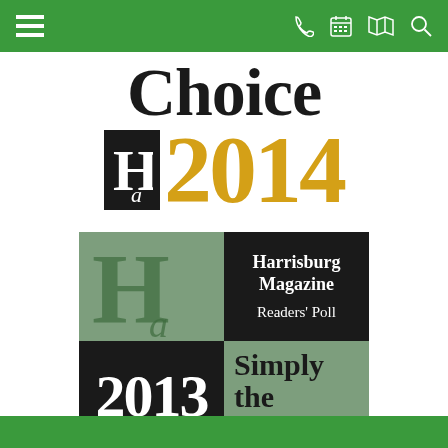[Figure (logo): Green mobile app top navigation bar with hamburger menu icon on left and phone, calendar, map, search icons on right]
[Figure (logo): Harrisburg Magazine Readers Choice 2014 award logo with large black bold 'Choice' text and gold '2014' year, plus Harrisburg Magazine Readers Poll 2013 Simply the best badge below]
[Figure (logo): Green mobile app bottom bar]